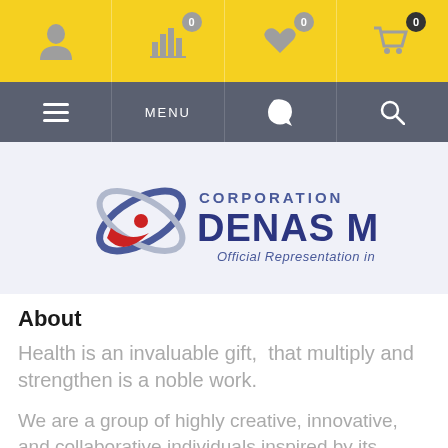[Figure (screenshot): Yellow top navigation bar with icons: person, bar-chart with badge 0, heart with badge 0, cart with badge 0]
[Figure (screenshot): Gray middle navigation bar with hamburger menu, MENU text, phone icon, and search icon]
[Figure (logo): Corporation DENAS MS logo with orbital graphic and tagline 'Official Representation in Europe']
About
Health is an invaluable gift,  that multiply and strengthen is a noble work.
We are a group of highly creative, innovative, and collaborative individuals inspired by its customers. It all started in the 2007s as a small private business selling the best Russian goods